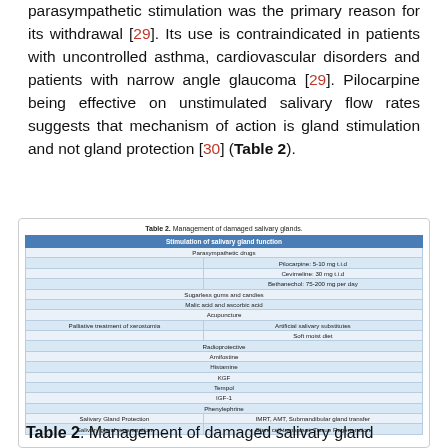development of this effect due to generalized parasympathetic stimulation was the primary reason for its withdrawal [29]. Its use is contraindicated in patients with uncontrolled asthma, cardiovascular disorders and patients with narrow angle glaucoma [29]. Pilocarpine being effective on unstimulated salivary flow rates suggests that mechanism of action is gland stimulation and not gland protection [30] (Table 2).
| Stimulation of salivary gland function |
| --- |
| Parasympathetic drugs |  |
|  | Pilocarpine: 5-10 mg t.i.d |
|  | Cevimeline: 30 mg t.i.d |
|  | Bethanechol: 75-200 mg per day |
| Sugarless gums and candies |  |
| Malic acid and ascorbic acid |  |
| Acupuncture |  |
| Palliative treatment of xerostomia | Artificial salivary substitutes |
|  | Soft moist diet |
| Radioprotective |  |
| Amifostine |  |
| Histamine |  |
| KGF |  |
| Tempol |  |
| IGF-1 |  |
| Phenylephrine |  |
| Salivary Gland Protection | IMRT, AMT, Submandibular gland transfer |
| Salivary gland regeneration | Stem cell transplant, Tissue Regeneration |
Table 2. Management of damaged salivary glands.